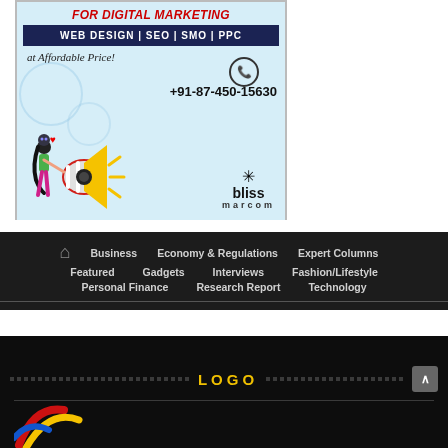[Figure (illustration): Advertisement banner for Bliss Marcom digital marketing agency. Light blue background with cartoon woman and megaphone. Red italic text 'FOR DIGITAL MARKETING', dark blue bar with 'WEB DESIGN | SEO | SMO | PPC', cursive tagline 'at Affordable Price!', phone number '+91-87-450-15630', blissmarcom logo.]
[Figure (other): Website footer navigation bar on dark background with home icon and links: Business, Economy & Regulations, Expert Columns, Featured, Gadgets, Interviews, Fashion/Lifestyle, Personal Finance, Research Report, Technology]
[Figure (logo): Dark footer section with 'LOGO' text in gold/yellow, dotted lines on either side, up arrow button on right, and partial colorful brand logo (red and yellow curves) visible at bottom.]